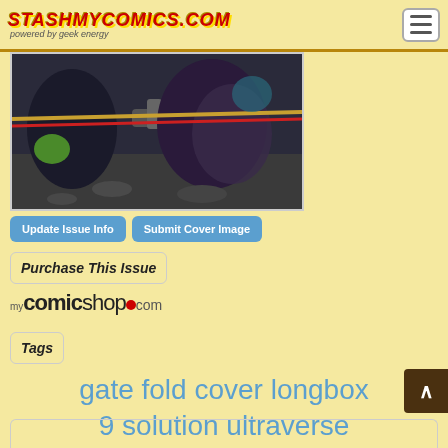StashMyComics.com - powered by geek energy
[Figure (illustration): Comic book cover art showing a dark action scene with a character holding a weapon, partial view of two figures in combat pose]
Update Issue Info   Submit Cover Image
Purchase This Issue
[Figure (logo): mycomicshop.com logo]
Tags
gate fold cover longbox 9 solution ultraverse